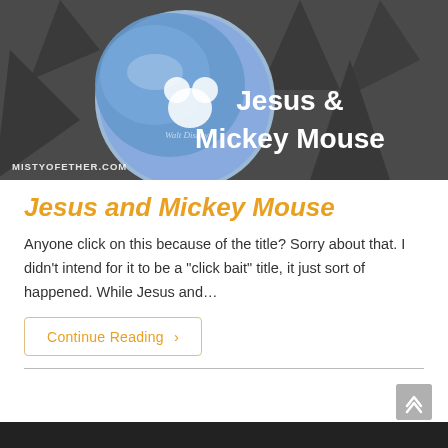[Figure (photo): A close-up photo of a blue Mickey Mouse balloon with a Walt Disney watermark. Text overlay reads 'Jesus & Mickey Mouse' in white bold font. Bottom-left watermark reads 'MISTYOFETHER.COM'. The background is dark and desaturated.]
Jesus and Mickey Mouse
Anyone click on this because of the title? Sorry about that. I didn't intend for it to be a "click bait" title, it just sort of happened. While Jesus and…
Continue Reading ›